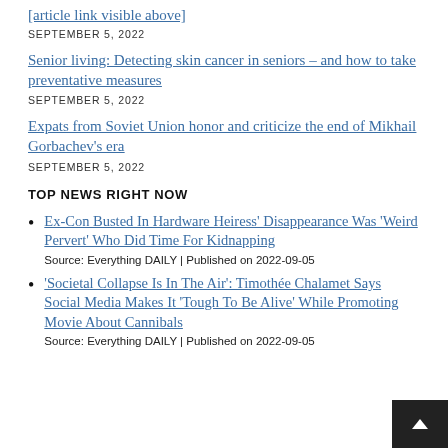[link] SEPTEMBER 5, 2022
Senior living: Detecting skin cancer in seniors – and how to take preventative measures
SEPTEMBER 5, 2022
Expats from Soviet Union honor and criticize the end of Mikhail Gorbachev's era
SEPTEMBER 5, 2022
TOP NEWS RIGHT NOW
Ex-Con Busted In Hardware Heiress' Disappearance Was 'Weird Pervert' Who Did Time For Kidnapping
Source: Everything DAILY | Published on 2022-09-05
'Societal Collapse Is In The Air': Timothée Chalamet Says Social Media Makes It 'Tough To Be Alive' While Promoting Movie About Cannibals
Source: Everything DAILY | Published on 2022-09-05